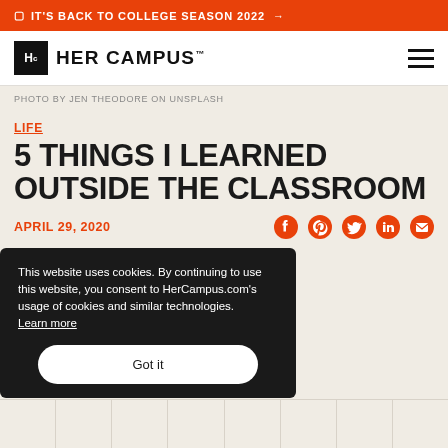IT'S BACK TO COLLEGE SEASON 2022 →
[Figure (logo): Her Campus logo with Hc icon and wordmark]
PHOTO BY JEN THEODORE ON UNSPLASH
LIFE
5 THINGS I LEARNED OUTSIDE THE CLASSROOM
APRIL 29, 2020
This website uses cookies. By continuing to use this website, you consent to HerCampus.com's usage of cookies and similar technologies. Learn more
Got it